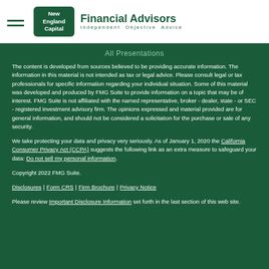New England Capital Financial Advisors Independent Objective Advice
All Presentations
The content is developed from sources believed to be providing accurate information. The information in this material is not intended as tax or legal advice. Please consult legal or tax professionals for specific information regarding your individual situation. Some of this material was developed and produced by FMG Suite to provide information on a topic that may be of interest. FMG Suite is not affiliated with the named representative, broker - dealer, state - or SEC - registered investment advisory firm. The opinions expressed and material provided are for general information, and should not be considered a solicitation for the purchase or sale of any security.
We take protecting your data and privacy very seriously. As of January 1, 2020 the California Consumer Privacy Act (CCPA) suggests the following link as an extra measure to safeguard your data: Do not sell my personal information.
Copyright 2022 FMG Suite.
Disclosures | Form CRS | Firm Brochure | Privacy Notice
Please review Important Disclosure Information set forth in the last section of this web site.